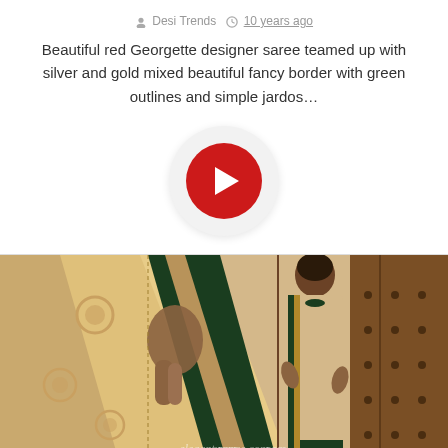Desi Trends  10 years ago
Beautiful red Georgette designer saree teamed up with silver and gold mixed beautiful fancy border with green outlines and simple jardos…
[Figure (other): Play button: outer light gray circle with inner red circle containing a white chevron/arrow pointing right]
[Figure (photo): A woman wearing a cream/gold colored saree with dark green embroidered border, standing near a wooden door. Left side shows a close-up of the saree's border detail with gold embroidery on cream fabric with dark green velvet trim. Right side shows the model holding the saree open displaying its border. Website watermark visible at bottom.]